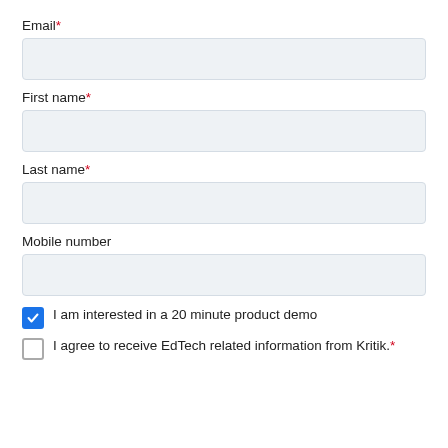Email*
First name*
Last name*
Mobile number
I am interested in a 20 minute product demo
I agree to receive EdTech related information from Kritik.*